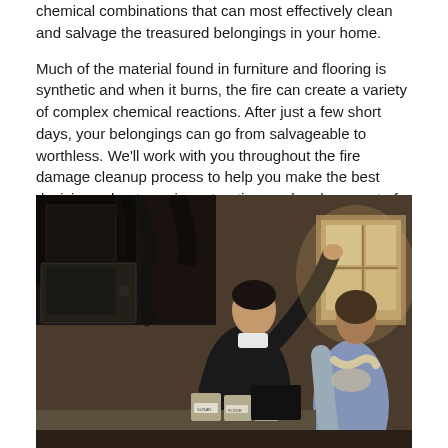chemical combinations that can most effectively clean and salvage the treasured belongings in your home.

Much of the material found in furniture and flooring is synthetic and when it burns, the fire can create a variety of complex chemical reactions. After just a few short days, your belongings can go from salvageable to worthless. We'll work with you throughout the fire damage cleanup process to help you make the best decisions about repair, restoration, and replacement of your property.
[Figure (photo): A fire damage restoration professional in a black jacket pointing at soot-covered walls in a fire-damaged kitchen, standing next to a homeowner woman in a blue cardigan. The kitchen has darkened cabinets, a microwave, and flour/sugar canisters on the counter.]